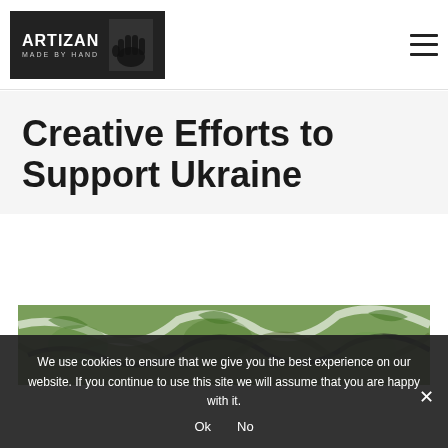[Figure (logo): Artizan Made By Hand logo — dark background with white text 'ARTIZAN' and 'MADE BY HAND' and a hand print icon]
Creative Efforts to Support Ukraine
[Figure (photo): Colorful artistic image with green, white, black brushstroke patterns, partially visible]
We use cookies to ensure that we give you the best experience on our website. If you continue to use this site we will assume that you are happy with it.
Ok  No